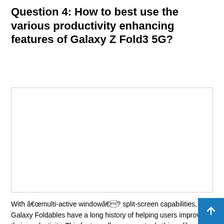Question 4: How to best use the various productivity enhancing features of Galaxy Z Fold3 5G?
[Figure (other): Empty white rectangle with thin border, serving as a placeholder image or video embed area.]
With â€œmulti-active windowâ€� split-screen capabilities, Galaxy Foldables have a long history of helping users improve their productivity. This feature allows users to do things like check their schedules while reading emails and navigate to a meeting location while talking to friends on Messenger, among others.